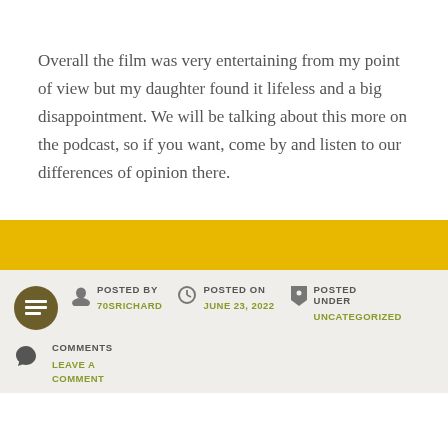Overall the film was very entertaining from my point of view but my daughter found it lifeless and a big disappointment. We will be talking about this more on the podcast, so if you want, come by and listen to our differences of opinion there.
POSTED BY 70SRICHARD | POSTED ON JUNE 23, 2022 | POSTED UNDER UNCATEGORIZED
COMMENTS LEAVE A COMMENT